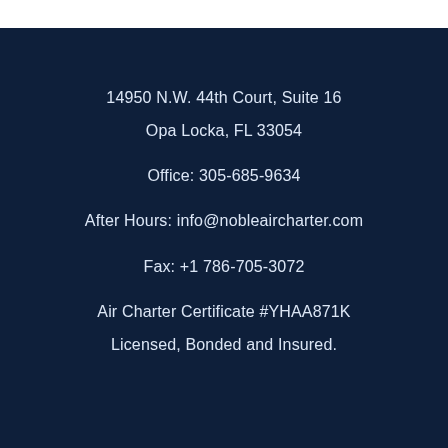14950 N.W. 44th Court, Suite 16
Opa Locka, FL 33054
Office: 305-685-9634
After Hours: info@nobleaircharter.com
Fax: +1 786-705-3072
Air Charter Certificate #YHAA871K
Licensed, Bonded and Insured.